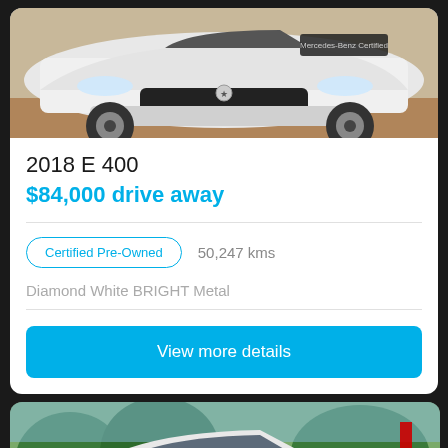[Figure (photo): Front view of a white Mercedes-Benz E400 sedan, showing the grille, front bumper, and wheel. Mercedes-Benz Certified badge visible on windshield.]
2018 E 400
$84,000 drive away
Certified Pre-Owned   50,247 kms
Diamond White BRIGHT Metal
View more details
[Figure (photo): Front three-quarter view of a white Mercedes-Benz GLC SUV parked outdoors with trees and a red banner/flag in the background.]